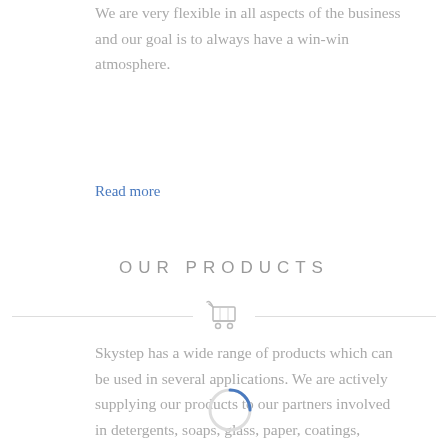We are very flexible in all aspects of the business and our goal is to always have a win-win atmosphere.
Read more
OUR PRODUCTS
[Figure (illustration): Shopping cart icon with horizontal decorative lines on each side]
Skystep has a wide range of products which can be used in several applications. We are actively supplying our products to our partners involved in detergents, soaps, glass, paper, coatings, construction, adhesives, water treatment, fertilizers, rubbers, leather, pigments, dyestuff, and many more. Our extensive product portfolio allows us to be a constant participant in the global